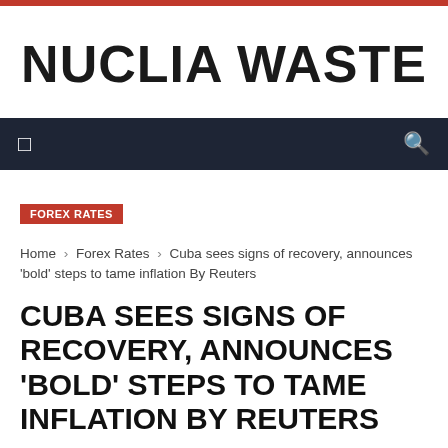NUCLIA WASTE
FOREX RATES
Home › Forex Rates › Cuba sees signs of recovery, announces 'bold' steps to tame inflation By Reuters
CUBA SEES SIGNS OF RECOVERY, ANNOUNCES 'BOLD' STEPS TO TAME INFLATION BY REUTERS
BY RICKY BAGBY / MAY 14, 2022 / 18 / 0